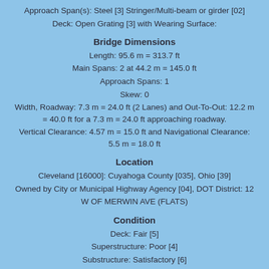Approach Span(s): Steel [3] Stringer/Multi-beam or girder [02]
Deck: Open Grating [3] with Wearing Surface:
Bridge Dimensions
Length: 95.6 m = 313.7 ft
Main Spans: 2 at 44.2 m = 145.0 ft
Approach Spans: 1
Skew: 0
Width, Roadway: 7.3 m = 24.0 ft (2 Lanes) and Out-To-Out: 12.2 m = 40.0 ft for a 7.3 m = 24.0 ft approaching roadway.
Vertical Clearance: 4.57 m = 15.0 ft and Navigational Clearance: 5.5 m = 18.0 ft
Location
Cleveland [16000]: Cuyahoga County [035], Ohio [39]
Owned by City or Municipal Highway Agency [04], DOT District: 12
W OF MERWIN AVE (FLATS)
Condition
Deck: Fair [5]
Superstructure: Poor [4]
Substructure: Satisfactory [6]
Loading
Design: M 13.5 / H 15 [2]